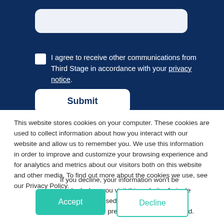[Figure (screenshot): Dark navy blue form section with a rounded input field, a checkbox with text 'I agree to receive other communications from Third Stage in accordance with your privacy notice.', and a white Submit button.]
This website stores cookies on your computer. These cookies are used to collect information about how you interact with our website and allow us to remember you. We use this information in order to improve and customize your browsing experience and for analytics and metrics about our visitors both on this website and other media. To find out more about the cookies we use, see our Privacy Policy.
If you decline, your information won't be tracked when you visit this website. A single cookie will be used in your browser to remember your preference not to be tracked.